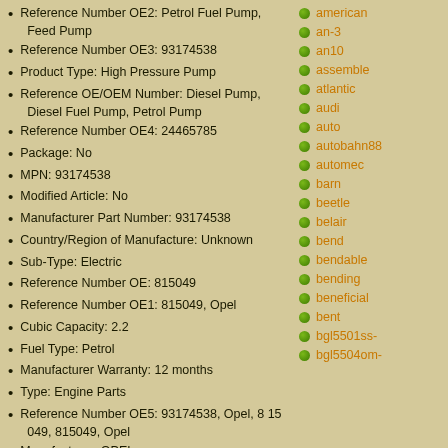Reference Number OE2: Petrol Fuel Pump, Feed Pump
Reference Number OE3: 93174538
Product Type: High Pressure Pump
Reference OE/OEM Number: Diesel Pump, Diesel Fuel Pump, Petrol Pump
Reference Number OE4: 24465785
Package: No
MPN: 93174538
Modified Article: No
Manufacturer Part Number: 93174538
Country/Region of Manufacture: Unknown
Sub-Type: Electric
Reference Number OE: 815049
Reference Number OE1: 815049, Opel
Cubic Capacity: 2.2
Fuel Type: Petrol
Manufacturer Warranty: 12 months
Type: Engine Parts
Reference Number OE5: 93174538, Opel, 8 15 049, 815049, Opel
Manufacturer: OPEL
EAN: 4050326079750
Brand: Unbranded
american
an-3
an10
assemble
atlantic
audi
auto
autobahn88
automec
barn
beetle
belair
bend
bendable
bending
beneficial
bent
bgl5501ss-
bgl5504om-